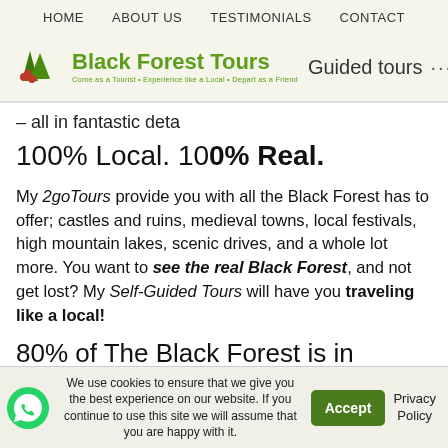HOME  ABOUT US  TESTIMONIALS  CONTACT
[Figure (logo): Black Forest Tours logo with tree and berries icon, green text reading 'Black Forest Tours', subtitle 'Come as a Tourist • Experience like a Local • Depart as a Friend', and 'Guided tours ...' text to the right]
– all in fantastic deta
100% Local. 100% Real.
My 2goTours provide you with all the Black Forest has to offer; castles and ruins, medieval towns, local festivals, high mountain lakes, scenic drives, and a whole lot more. You want to see the real Black Forest, and not get lost? My Self-Guided Tours will have you traveling like a local!
80% of The Black Forest is in German
We use cookies to ensure that we give you the best experience on our website. If you continue to use this site we will assume that you are happy with it.